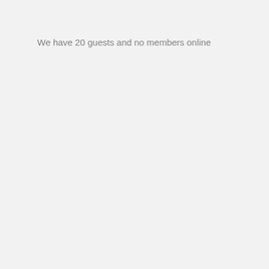We have 20 guests and no members online